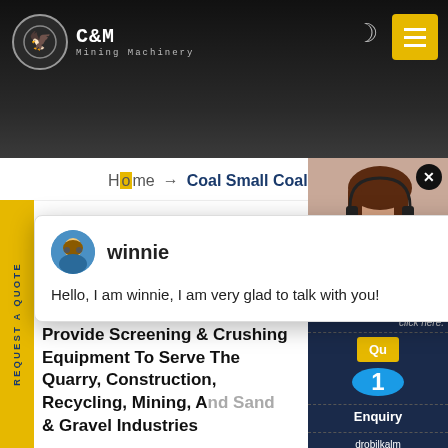[Figure (logo): C&M Mining Machinery logo with eagle icon in circular gear border, white text on dark background]
C&M Mining Machinery
Home → Coal Small Coal Jaw Crusher
REQUEST A QUOTE
CRUSHING | SCREENING WASHING
Provide Screening & Crushing Equipment To Serve The Quarry, Construction, Recycling, Mining, And Sand & Gravel Industries
[Figure (screenshot): Chat popup with agent named winnie saying: Hello, I am winnie, I am very glad to talk with you!]
winnie
Hello, I am winnie, I am very glad to talk with you!
click here.
Qu...
1
Enquiry
drobilkalm
@gmail.com